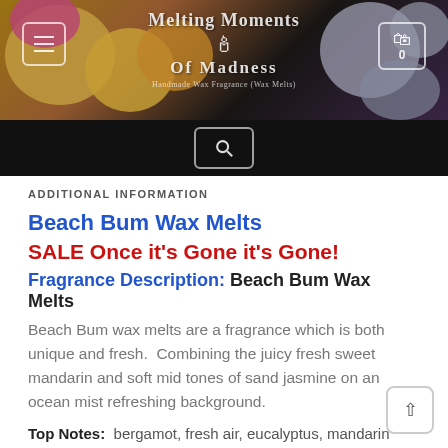[Figure (screenshot): Website header banner with colorful wax melts/bath bombs in background, showing 'Melting Moments of Madness' logo, hamburger menu button on left, cart button with '0' on right]
[Figure (screenshot): Black search bar with magnifying glass search icon in a rounded rectangle]
ADDITIONAL INFORMATION
Beach Bum Wax Melts
SALE Once it's Gone it's Gone!
Fragrance Description: Beach Bum Wax Melts
Beach Bum wax melts are a fragrance which is both unique and fresh.  Combining the juicy fresh sweet mandarin and soft mid tones of sand jasmine on an ocean mist refreshing background.
Top Notes:  bergamot, fresh air, eucalyptus, mandarin
Mid Notes:  gardenia, lavender, rose, sand jasmine